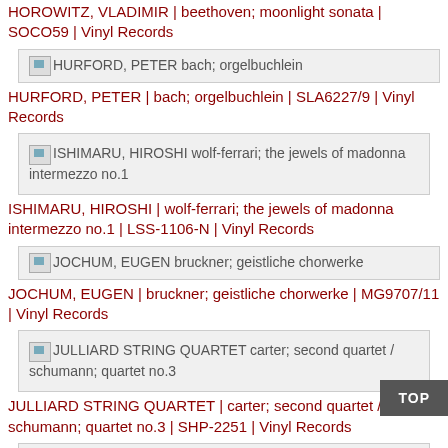HOROWITZ, VLADIMIR | beethoven; moonlight sonata | SOCO59 | Vinyl Records
[Figure (other): Thumbnail image for HURFORD, PETER bach; orgelbuchlein]
HURFORD, PETER | bach; orgelbuchlein | SLA6227/9 | Vinyl Records
[Figure (other): Thumbnail image for ISHIMARU, HIROSHI wolf-ferrari; the jewels of madonna intermezzo no.1]
ISHIMARU, HIROSHI | wolf-ferrari; the jewels of madonna intermezzo no.1 | LSS-1106-N | Vinyl Records
[Figure (other): Thumbnail image for JOCHUM, EUGEN bruckner; geistliche chorwerke]
JOCHUM, EUGEN | bruckner; geistliche chorwerke | MG9707/11 | Vinyl Records
[Figure (other): Thumbnail image for JULLIARD STRING QUARTET carter; second quartet / schumann; quartet no.3]
JULLIARD STRING QUARTET | carter; second quartet / schumann; quartet no.3 | SHP-2251 | Vinyl Records
[Figure (other): Thumbnail image for KARAJAN, HERBERT VON beethoven; symphonien 5 & 9]
KARAJAN, HERBERT VON | beethoven; symphonien 5 & 9 | 46MG0756/7 / 413933-1 | Vinyl Records
[Figure (other): Thumbnail image for KARAJAN, HERBERT VON beethoven; symphony no.5]